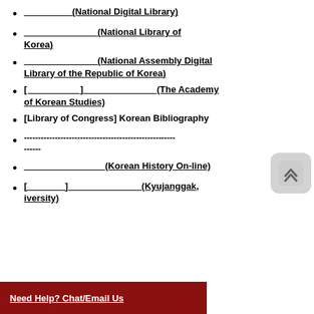_________(National Digital Library)
______________(National Library of Korea)
______________(National Assembly Digital Library of the Republic of Korea)
[__________]_____________(The Academy of Korean Studies)
[Library of Congress] Korean Bibliography
------------------------------------------------------
------
________________(Korean History On-line)
[_______]_____________(Kyujanggak, Seoul National University)
Need Help? Chat/Email Us